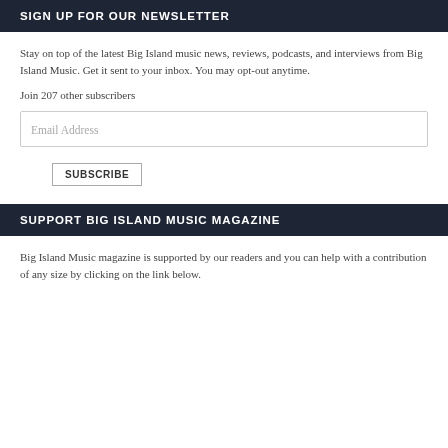SIGN UP FOR OUR NEWSLETTER
Stay on top of the latest Big Island music news, reviews, podcasts, and interviews from Big Island Music. Get it sent to your inbox. You may opt-out anytime.
Join 207 other subscribers
Email Address
SUBSCRIBE
SUPPORT BIG ISLAND MUSIC MAGAZINE
Big Island Music magazine is supported by our readers and you can help with a contribution of any size by clicking on the link below.